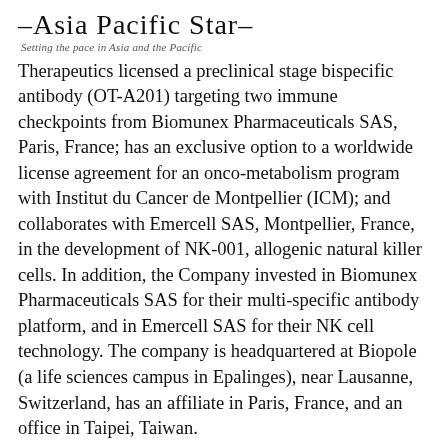–Asia Pacific Star– Setting the pace in Asia and the Pacific
Therapeutics licensed a preclinical stage bispecific antibody (OT-A201) targeting two immune checkpoints from Biomunex Pharmaceuticals SAS, Paris, France; has an exclusive option to a worldwide license agreement for an onco-metabolism program with Institut du Cancer de Montpellier (ICM); and collaborates with Emercell SAS, Montpellier, France, in the development of NK-001, allogenic natural killer cells. In addition, the Company invested in Biomunex Pharmaceuticals SAS for their multi-specific antibody platform, and in Emercell SAS for their NK cell technology. The company is headquartered at Biopole (a life sciences campus in Epalinges), near Lausanne, Switzerland, has an affiliate in Paris, France, and an office in Taipei, Taiwan.